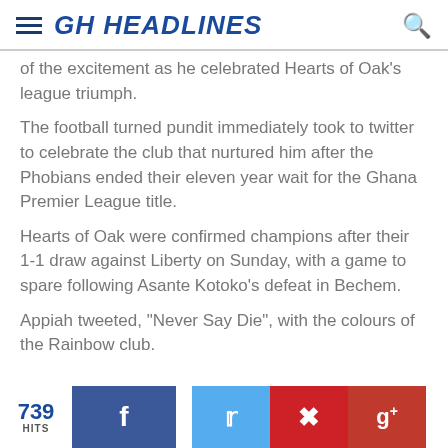GH HEADLINES
of the excitement as he celebrated Hearts of Oak's league triumph.
The football turned pundit immediately took to twitter to celebrate the club that nurtured him after the Phobians ended their eleven year wait for the Ghana Premier League title.
Hearts of Oak were confirmed champions after their 1-1 draw against Liberty on Sunday, with a game to spare following Asante Kotoko's defeat in Bechem.
Appiah tweeted, "Never Say Die", with the colours of the Rainbow club.
739 HITS